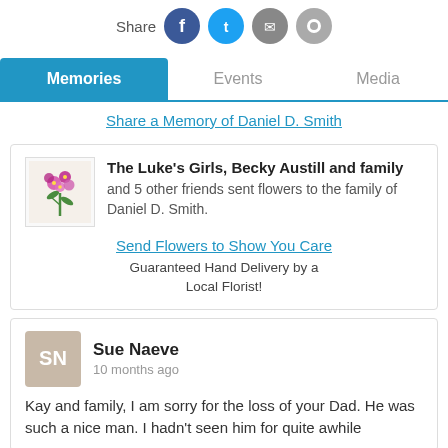[Figure (infographic): Share label with four social media icon buttons (Facebook blue, Twitter blue, email gray, another gray)]
Memories | Events | Media (tab navigation)
Share a Memory of Daniel D. Smith
[Figure (photo): Small bouquet of pink/purple flowers in a box]
The Luke's Girls, Becky Austill and family and 5 other friends sent flowers to the family of Daniel D. Smith.
Send Flowers to Show You Care
Guaranteed Hand Delivery by a Local Florist!
Sue Naeve
10 months ago
Kay and family, I am sorry for the loss of your Dad. He was such a nice man. I hadn't seen him for quite awhile